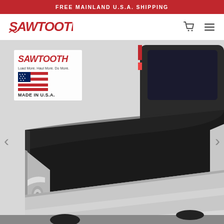FREE MAINLAND U.S.A. SHIPPING
[Figure (logo): SAWTOOTH brand logo in red stylized text]
[Figure (photo): Sawtooth truck bed cover (tonneau cover) installed on a silver pickup truck, viewed from rear 3/4 angle. Overlay shows SAWTOOTH logo, 'Load More. Haul More. Do More.' tagline, US flag graphic, and 'MADE IN U.S.A.' text. Left and right navigation arrows visible.]